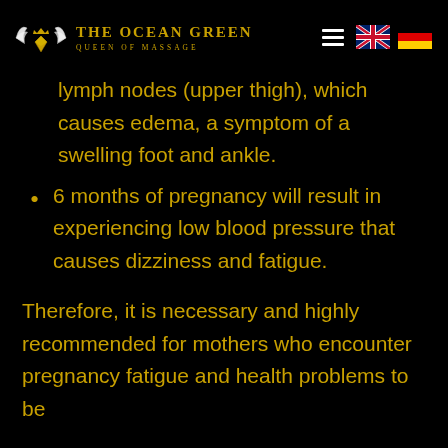THE OCEAN GREEN / QUEEN OF MASSAGE
lymph nodes (upper thigh), which causes edema, a symptom of a swelling foot and ankle.
6 months of pregnancy will result in experiencing low blood pressure that causes dizziness and fatigue.
Therefore, it is necessary and highly recommended for mothers who encounter pregnancy fatigue and health problems to be